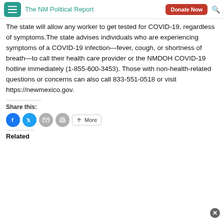The NM Political Report
The state will allow any worker to get tested for COVID-19, regardless of symptoms. The state advises individuals who are experiencing symptoms of a COVID-19 infection—fever, cough, or shortness of breath—to call their health care provider or the NMDOH COVID-19 hotline immediately (1-855-600-3453). Those with non-health-related questions or concerns can also call 833-551-0518 or visit https://newmexico.gov.
Share this:
[Figure (other): Social share buttons: Facebook, Twitter, Email, Print, More]
Related